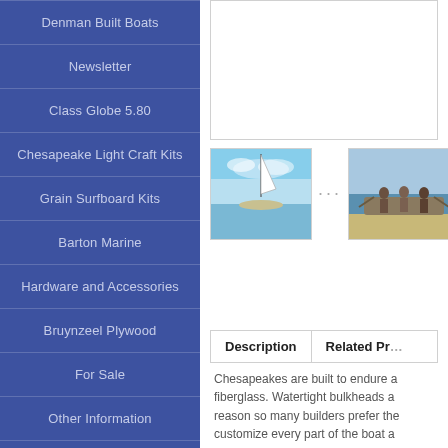Denman Built Boats
Newsletter
Class Globe 5.80
Chesapeake Light Craft Kits
Grain Surfboard Kits
Barton Marine
Hardware and Accessories
Bruynzeel Plywood
For Sale
Other Information
Gift Certificates
[Figure (photo): Main product image area - blank/white]
[Figure (photo): Thumbnail 1: boat with mast against sky]
[Figure (photo): Thumbnail 2: people on boat near water/shore]
Description | Related Products
Chesapeakes are built to endure a fiberglass. Watertight bulkheads a reason so many builders prefer the customize every part of the boat a